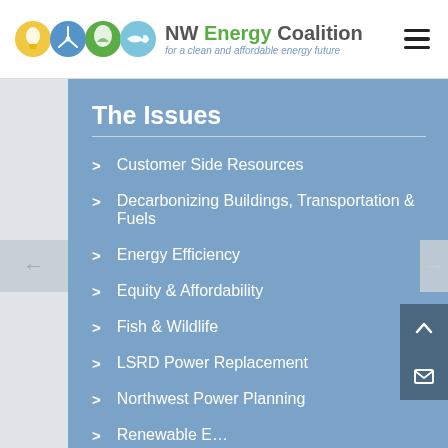NW Energy Coalition — for a clean and affordable energy future
The Issues
Customer Side Resources
Decarbonizing Buildings, Transportation & Fuels
Energy Efficiency
Equity & Affordability
Fish & Wildlife
LSRD Power Replacement
Northwest Power Planning
Renewable E…